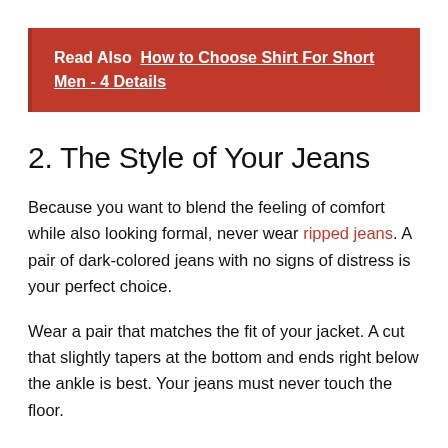Read Also  How to Choose Shirt For Short Men - 4 Details
2. The Style of Your Jeans
Because you want to blend the feeling of comfort while also looking formal, never wear ripped jeans. A pair of dark-colored jeans with no signs of distress is your perfect choice.
Wear a pair that matches the fit of your jacket. A cut that slightly tapers at the bottom and ends right below the ankle is best. Your jeans must never touch the floor.
So there you have it, simple ways to wear the suit jacket and jeans ensemble to create that formal yet laid-back